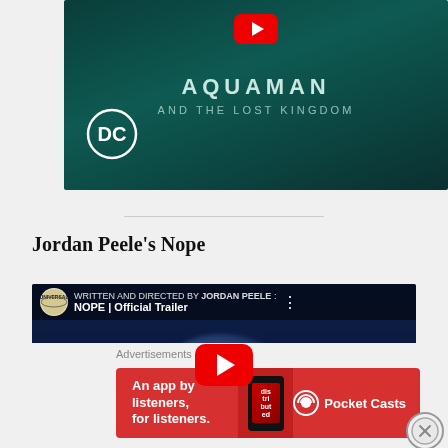[Figure (screenshot): Aquaman and the Lost Kingdom movie banner with DC logo on teal/dark green background with YouTube play button at top]
Jordan Peele’s Nope
[Figure (screenshot): YouTube embedded video thumbnail for NOPE Official Trailer by Jordan Peele, showing large NOPE letters on dark blue background with red YouTube play button]
Advertisements
[Figure (screenshot): Pocket Casts advertisement: red banner reading 'An app by listeners, for listeners.' with phone graphic and Pocket Casts logo]